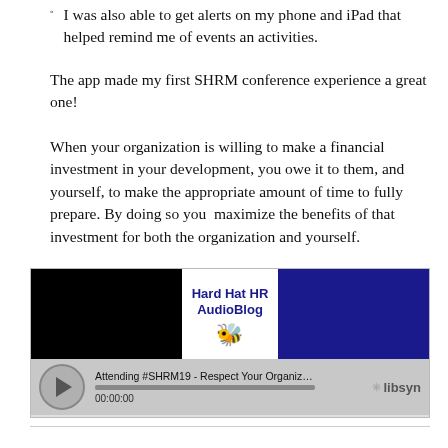I was also able to get alerts on my phone and iPad that helped remind me of events an activities.
The app made my first SHRM conference experience a great one!
When your organization is willing to make a financial investment in your development, you owe it to them, and yourself, to make the appropriate amount of time to fully prepare. By doing so you  maximize the benefits of that investment for both the organization and yourself.
[Figure (screenshot): Embedded audio player widget for 'Hard Hat HR AudioBlog' podcast episode titled 'Attending #SHRM19 - Respect Your Organization's Inve...' hosted on Libsyn, showing a play button, progress bar, and timestamp 00:00:00.]